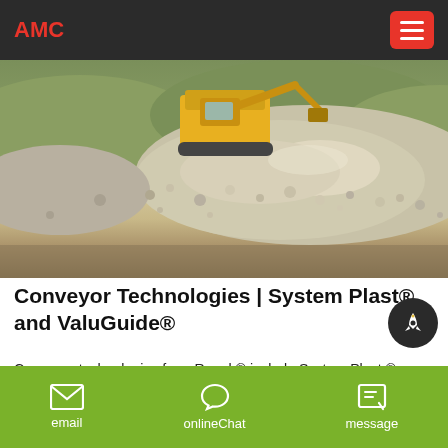AMC
[Figure (photo): Aerial/ground-level photo of crushed gravel/stone aggregate with a yellow tracked excavator machine in the background]
Conveyor Technologies | System Plast® and ValuGuide®
Conveyor technologies from Regal ® include System Plast ® chains and belts along with ValuGuide™ conveyor components to help keep the world moving! Conveyor technologies encompasses products ranging from chains and sprockets, to modular plastic belts, mounted bearings, couplings, variable speed motors, gear
email   onlineChat   message